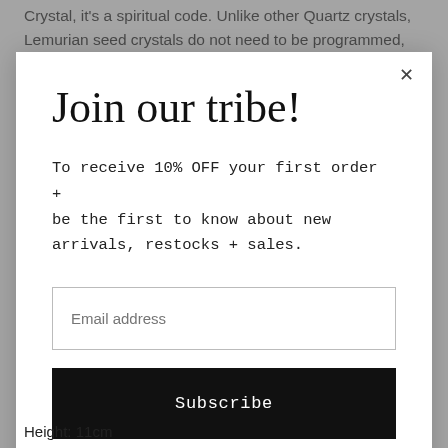Crystal, it's a spiritual code. Unlike other Quartz crystals, Lemurian seed crystals do not need to be programmed, instead they need to be activated. This occurs when your vibration matches the vibration
Join our tribe!
To receive 10% OFF your first order + be the first to know about new arrivals, restocks + sales.
Email address
Subscribe
Height: 11cm